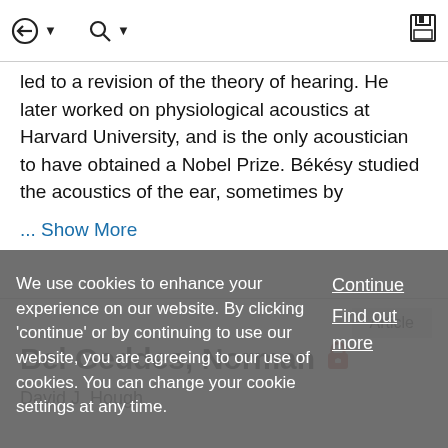Navigation toolbar with back, search, and save icons
led to a revision of the theory of hearing. He later worked on physiological acoustics at Harvard University, and is the only acoustician to have obtained a Nobel Prize. Békésy studied the acoustics of the ear, sometimes by
... Show More
Article
Bel Geddes, Norman 🔒
David J. Hough
We use cookies to enhance your experience on our website. By clicking 'continue' or by continuing to use our website, you are agreeing to our use of cookies. You can change your cookie settings at any time.
Continue
Find out more